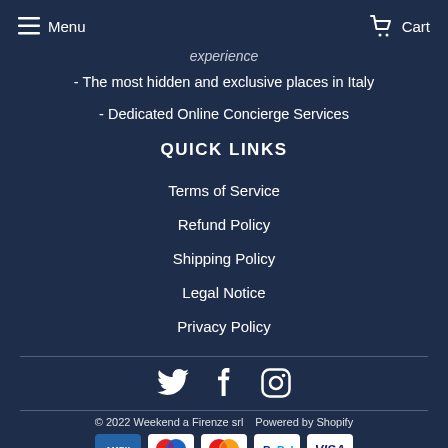Menu   Cart
experience
- The most hidden and exclusive places in Italy
- Dedicated Online Concierge Services
QUICK LINKS
Terms of Service
Refund Policy
Shipping Policy
Legal Notice
Privacy Policy
[Figure (other): Social media icons: Twitter, Facebook, Instagram]
© 2022 Weekend a Firenze srl   Powered by Shopify
[Figure (other): Payment method icons: American Express, Maestro, Mastercard, PayPal, Visa]